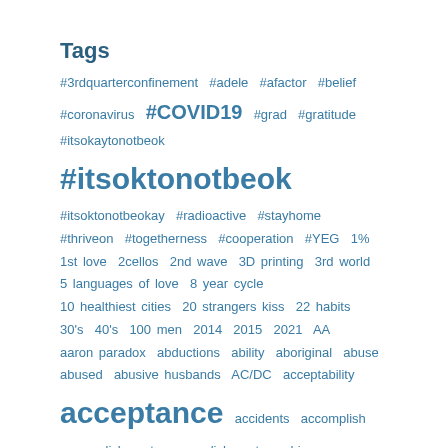Tags
#3rdquarterconfinement #adele #afactor #belief #coronavirus #COVID19 #grad #gratitude #itsokaytonotbeok #itsoktonotbeok #itsoktonotbeokay #radioactive #stayhome #thriveon #togetherness #cooperation #YEG 1% 1st love 2cellos 2nd wave 3D printing 3rd world 5 languages of love 8 year cycle 10 healthiest cities 20 strangers kiss 22 habits 30's 40's 100 men 2014 2015 2021 AA aaron paradox abductions ability aboriginal abuse abused abusive husbands AC/DC acceptability acceptance accidents accomplish accomplishment accomplishments achieve achievement achievements a course in miracles acting action active activity actors actress adapt addict addiction addictions ADHD admiration adoption adria richards adult advertising advice affection afraid Africa age ageing ageism aggression aging agony agreement